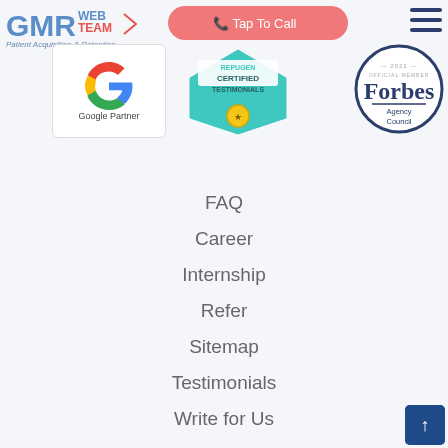[Figure (logo): GMR Web Team logo with tagline Patient Acquisition & Retention]
[Figure (infographic): Tap To Call button in coral/pink color]
[Figure (logo): Hamburger menu icon]
[Figure (logo): Google Partner badge with colorful G logo]
[Figure (logo): Repugen Certified Testimonials badge in teal]
[Figure (logo): Forbes Agency Council 2022 official member badge]
FAQ
Career
Internship
Refer
Sitemap
Testimonials
Write for Us